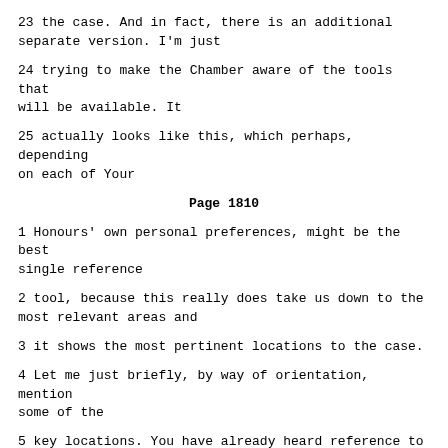23 the case. And in fact, there is an additional separate version. I'm just
24 trying to make the Chamber aware of the tools that will be available. It
25 actually looks like this, which perhaps, depending on each of Your
Page 1810
1 Honours' own personal preferences, might be the best single reference
2 tool, because this really does take us down to the most relevant areas and
3 it shows the most pertinent locations to the case.
4 Let me just briefly, by way of orientation, mention some of the
5 key locations. You have already heard reference to the villages of Sovici
6 and Doljani. They are at the top of the map, and this map is oriented
7 basically north, but at the top of the sheet would be basically north. We